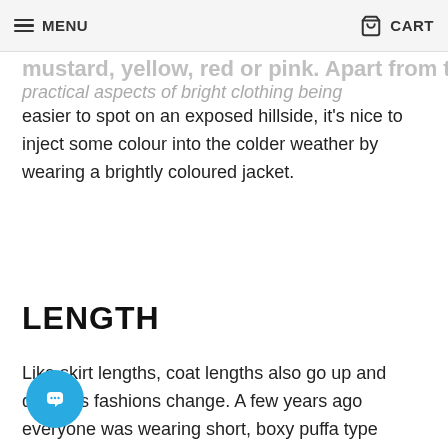MENU   CART
mustard, yellow, red or pink. Apart from the practical aspects of bright clothing being easier to spot on an exposed hillside, it's nice to inject some colour into the colder weather by wearing a brightly coloured jacket.
LENGTH
Like skirt lengths, coat lengths also go up and down as fashions change. A few years ago everyone was wearing short, boxy puffa type jackets but now the hemlines have come down again and three quarter length is the best choice if you want to follow the trends. Coats like the Outrider are the perfect length for this season and will fit perfectly whatever your height. Leaving fashion aside, three quarter length is a practical choice too as it will keep the tops